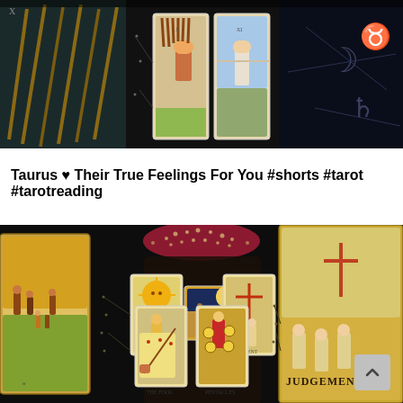[Figure (photo): Tarot cards spread on a dark surface with zodiac symbols, featuring two upright cards in the center (Ten of Wands and a figure-based card), surrounded by other partially visible tarot cards]
Taurus ♥ Their True Feelings For You #shorts #tarot #tarotreading
[Figure (photo): Tarot card reading spread on a dark zodiac-themed background. A rhinestone-encrusted object sits at top center. Multiple tarot cards are arranged: The Sun card, The Moon card, Judgement card, The Fool card, and another figure card. The word JUDGEMENT is visible on the right large background card.]